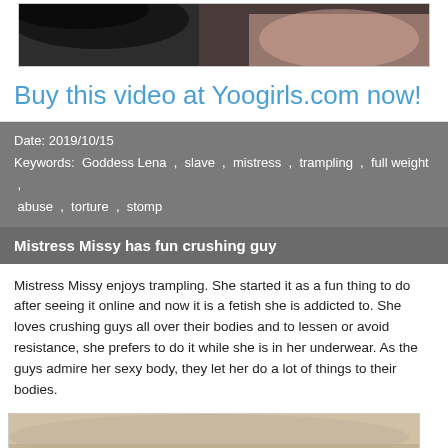[Figure (photo): Partial close-up photo of a person's face, dark hair visible, appearing at the top of the page]
Buy this video at Yoogirls.com now!
Date: 2019/10/15
Keywords: Goddess Lena , slave , mistress , trampling , full weight , abuse , torture , stomp
Mistress Missy has fun crushing guy
Mistress Missy enjoys trampling. She started it as a fun thing to do after seeing it online and now it is a fetish she is addicted to. She loves crushing guys all over their bodies and to lessen or avoid resistance, she prefers to do it while she is in her underwear. As the guys admire her sexy body, they let her do a lot of things to their bodies.
[Figure (photo): Partial photo visible at bottom of page, appears to show a person]